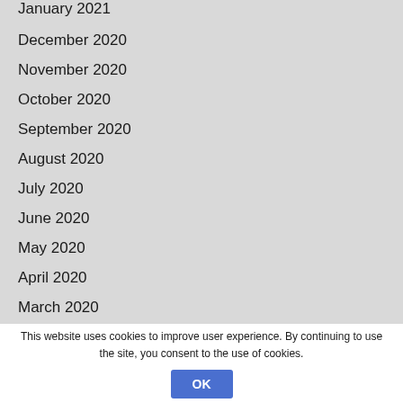January 2021
December 2020
November 2020
October 2020
September 2020
August 2020
July 2020
June 2020
May 2020
April 2020
March 2020
February 2020
January 2020
This website uses cookies to improve user experience. By continuing to use the site, you consent to the use of cookies.